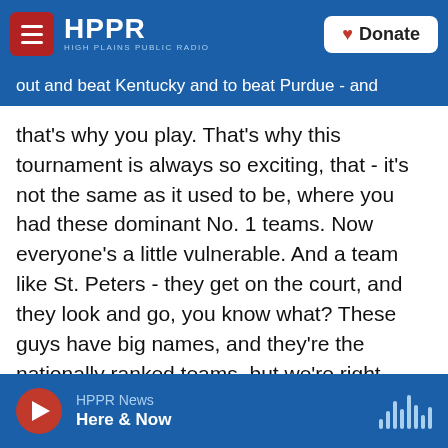HPPR — HIGH PLAINS PUBLIC RADIO — Donate
out and beat Kentucky and to beat Purdue - and that's why you play. That's why this tournament is always so exciting, that - it's not the same as it used to be, where you had these dominant No. 1 teams. Now everyone's a little vulnerable. And a team like St. Peters - they get on the court, and they look and go, you know what? These guys have big names, and they're the nationally ranked teams, but we're right here. We can beat them. And you start feeling like you can win, and then anything's possible.
ELLIOTT: Let's talk now about the Cleveland Browns getting a lot of criticism for acquiring
HPPR News Here & Now